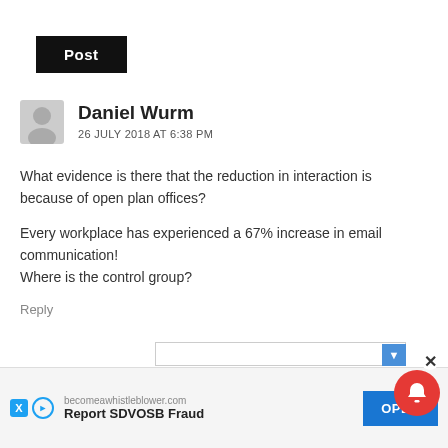Post
Daniel Wurm
26 JULY 2018 AT 6:38 PM
What evidence is there that the reduction in interaction is because of open plan offices?
Every workplace has experienced a 67% increase in email communication!
Where is the control group?
Reply
[Figure (screenshot): Advertisement banner: becomeawhistleblower.com – Report SDVOSB Fraud, with OPEN button]